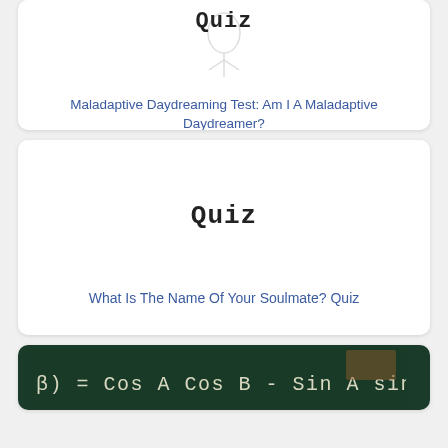[Figure (illustration): Card with handwritten 'Quiz' text on white background, partially visible at top of page]
Maladaptive Daydreaming Test: Am I A Maladaptive Daydreamer?
[Figure (illustration): Card with handwritten 'Quiz' text on white background]
What Is The Name Of Your Soulmate? Quiz
[Figure (photo): Chalkboard with math formula: cos(A+B) = CosACosB - SinASinB]